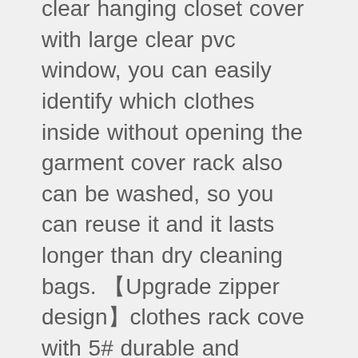clear hanging closet cover with large clear pvc window, you can easily identify which clothes inside without opening the garment cover rack also can be washed, so you can reuse it and it lasts longer than dry cleaning bags. 【Upgrade zipper design】clothes rack cove with 5# durable and smooth triple zipper start from top to the bottom make clothes easy to take out and hang in zipper closure protects items inside from dust, dirt, debris, moisture, keeping all your favorite/off season clothes, cashmere fresh and wrinkle free. 【easy to install】the hanging clothes storage bag is made of safe, environmentally friendly and heavy-duty non-woven fabric ideal length for suits, shirts, dress, sweaters, jackets, trousers, tops, coat etc you can easy to install in few minutes and no need